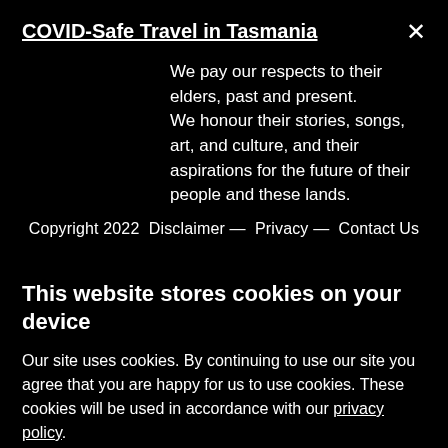COVID-Safe Travel in Tasmania
We pay our respects to their elders, past and present.
We honour their stories, songs, art, and culture, and their aspirations for the future of their people and these lands.
Copyright 2022  Disclaimer —  Privacy —  Contact Us
This website stores cookies on your device
Our site uses cookies. By continuing to use our site you agree that you are happy for us to use cookies. These cookies will be used in accordance with our privacy policy.